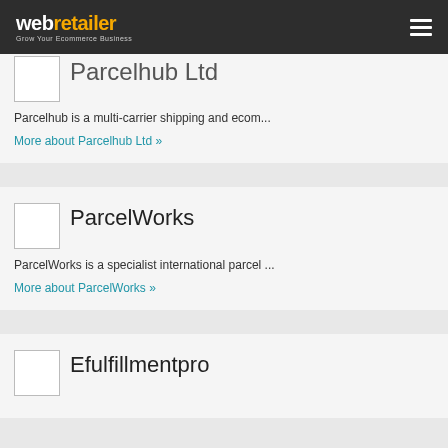webretailer - Grow Your Ecommerce Business
Parcelhub Ltd
Parcelhub is a multi-carrier shipping and ecom...
More about Parcelhub Ltd »
ParcelWorks
ParcelWorks is a specialist international parcel ...
More about ParcelWorks »
Efulfillmentpro